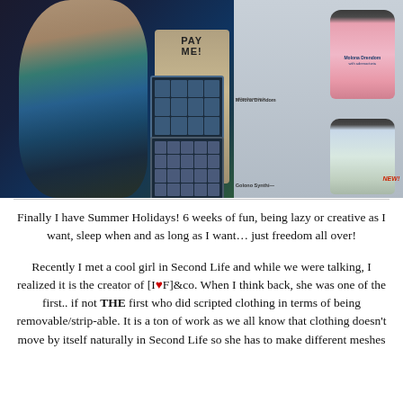[Figure (photo): Cyberpunk-style 3D rendered scene showing a tattooed female figure from behind pressing buttons on a keypad panel labeled 'PAY ME!', with a product display on the right showing spray cans labeled 'Molona Drendom' and 'Golono Synthi—' with a NEW badge.]
Finally I have Summer Holidays! 6 weeks of fun, being lazy or creative as I want, sleep when and as long as I want… just freedom all over!
Recently I met a cool girl in Second Life and while we were talking, I realized it is the creator of  [I♥F]&co. When I think back, she was one of the first.. if not THE first who did scripted clothing in terms of being removable/strip-able. It is a ton of work as we all know that clothing doesn't move by itself naturally in Second Life so she has to make different meshes